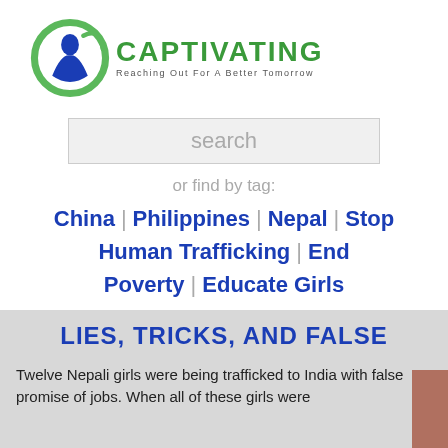[Figure (logo): Captivating organization logo with green circular swoosh and blue figure, text 'CAPTIVATING' in green and 'Reaching Out For A Better Tomorrow' below]
search
or find by tag:
China | Philippines | Nepal | Stop Human Trafficking | End Poverty | Educate Girls
LIES, TRICKS, AND FALSE
Twelve Nepali girls were being trafficked to India with false promise of jobs. When all of these girls were